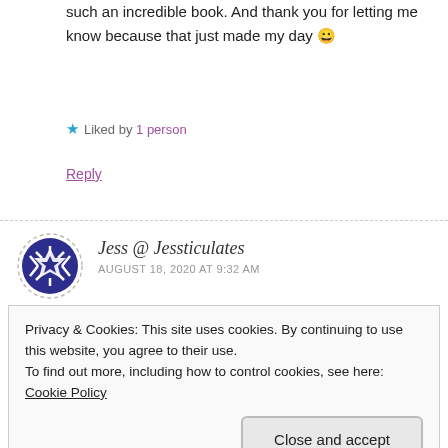such an incredible book. And thank you for letting me know because that just made my day 😀
★ Liked by 1 person
Reply
Jess @ Jessticulates
AUGUST 18, 2020 AT 9:32 AM
Great list! The Lies of Locke Lamora would be a really
Privacy & Cookies: This site uses cookies. By continuing to use this website, you agree to their use.
To find out more, including how to control cookies, see here: Cookie Policy
Close and accept
Reply